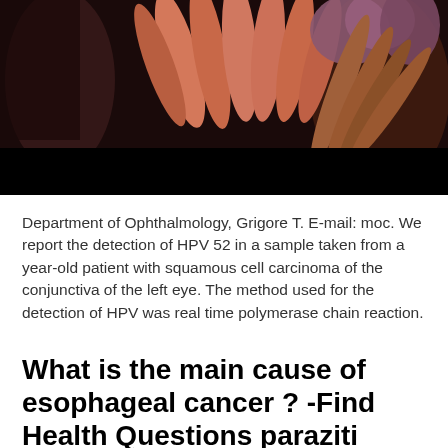[Figure (photo): Close-up medical illustration or photo showing intestinal or tissue structures in pink, orange, and brown tones against a dark background, with a black bar at the bottom.]
Department of Ophthalmology, Grigore T. E-mail: moc. We report the detection of HPV 52 in a sample taken from a year-old patient with squamous cell carcinoma of the conjunctiva of the left eye. The method used for the detection of HPV was real time polymerase chain reaction.
What is the main cause of esophageal cancer ? -Find Health Questions paraziti